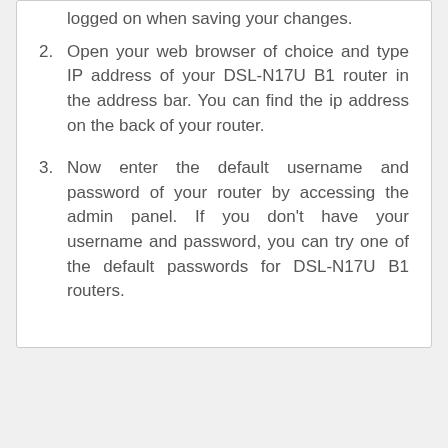logged on when saving your changes.
2. Open your web browser of choice and type IP address of your DSL-N17U B1 router in the address bar. You can find the ip address on the back of your router.
3. Now enter the default username and password of your router by accessing the admin panel. If you don't have your username and password, you can try one of the default passwords for DSL-N17U B1 routers.